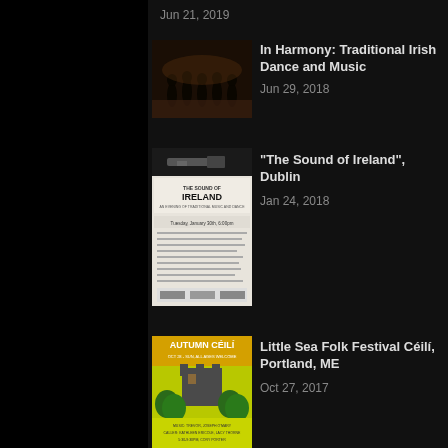Jun 21, 2019
[Figure (photo): People dancing in a dimly lit hall, traditional Irish dance scene]
In Harmony: Traditional Irish Dance and Music
Jun 29, 2018
[Figure (photo): Poster for 'The Sound of Ireland' event, black and white design with gun image at top]
"The Sound of Ireland", Dublin
Jan 24, 2018
[Figure (photo): Autumn Céilí poster with yellow-green background, castle silhouette and trees]
Little Sea Folk Festival Céilí, Portland, ME
Oct 27, 2017